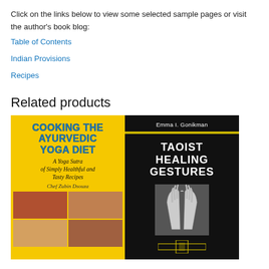Click on the links below to view some selected sample pages or visit the author's book blog:
Table of Contents
Indian Provisions
Recipes
Related products
[Figure (illustration): Book cover for 'Cooking the Ayurvedic Yoga Diet' by Chef Zubin Dsouza. Yellow background with blue text title, italic subtitle 'A Yoga Sutra of Simply Healthful and Tasty Recipes', and food photos at the bottom.]
[Figure (illustration): Book cover for 'Taoist Healing Gestures' by Emma I. Gonikman. Black background with white bold title text, a yellow horizontal stripe, and a black-and-white photo of hands in prayer/mudra position with decorative border at the bottom.]